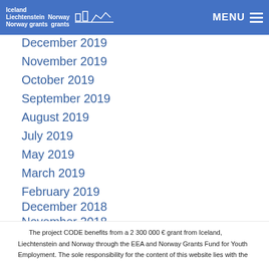Iceland Liechtenstein Norway grants / Norway grants — MENU
December 2019
November 2019
October 2019
September 2019
August 2019
July 2019
May 2019
March 2019
February 2019
December 2018
November 2018
RSS Feed
Login
The project CODE benefits from a 2 300 000 € grant from Iceland, Liechtenstein and Norway through the EEA and Norway Grants Fund for Youth Employment. The sole responsibility for the content of this website lies with the